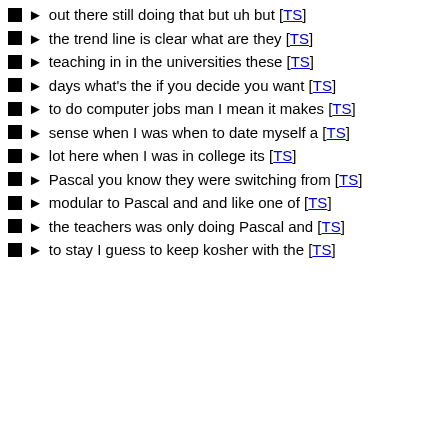out there still doing that but uh but [TS]
the trend line is clear what are they [TS]
teaching in in the universities these [TS]
days what's the if you decide you want [TS]
to do computer jobs man I mean it makes [TS]
sense when I was when to date myself a [TS]
lot here when I was in college its [TS]
Pascal you know they were switching from [TS]
modular to Pascal and and like one of [TS]
the teachers was only doing Pascal and [TS]
to stay I guess to keep kosher with the [TS]
t of the stuff men ble you see [TS]